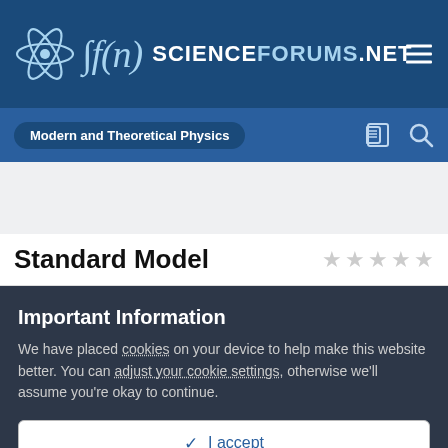∫f(n) SCIENCEFORUMS.NET
Modern and Theoretical Physics
Standard Model
Important Information
We have placed cookies on your device to help make this website better. You can adjust your cookie settings, otherwise we'll assume you're okay to continue.
✓  I accept